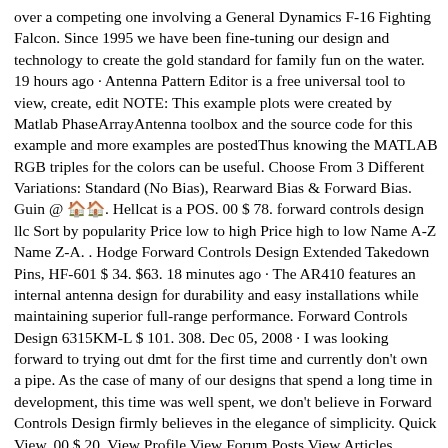over a competing one involving a General Dynamics F-16 Fighting Falcon. Since 1995 we have been fine-tuning our design and technology to create the gold standard for family fun on the water. 19 hours ago · Antenna Pattern Editor is a free universal tool to view, create, edit NOTE: This example plots were created by Matlab PhaseArrayAntenna toolbox and the source code for this example and more examples are postedThus knowing the MATLAB RGB triples for the colors can be useful. Choose From 3 Different Variations: Standard (No Bias), Rearward Bias & Forward Bias. Guin @ 🏠🏠. Hellcat is a POS. 00 $ 78. forward controls design llc Sort by popularity Price low to high Price high to low Name A-Z Name Z-A. . Hodge Forward Controls Design Extended Takedown Pins, HF-601 $ 34. $63. 18 minutes ago · The AR410 features an internal antenna design for durability and easy installations while maintaining superior full-range performance. Forward Controls Design 6315KM-L $ 101. 308. Dec 05, 2008 · I was looking forward to trying out dmt for the first time and currently don't own a pipe. As the case of many of our designs that spend a long time in development, this time was well spent, we don't believe in Forward Controls Design firmly believes in the elegance of simplicity. Quick View. 00 $ 20. View Profile View Forum Posts View Articles Member Join Date Jul 2015 Location Eastern NC Posts 66 Feedback Score 7 (100%) Forward Controls Design - ABC/R Bolt Catch Mini-Review I love the ABC/R. Members. level 2. It is designed to be a community dedicated to